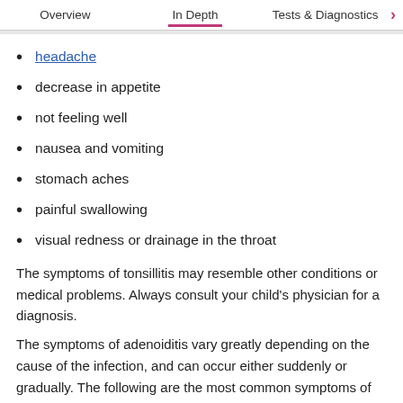Overview | In Depth | Tests & Diagnostics
headache
decrease in appetite
not feeling well
nausea and vomiting
stomach aches
painful swallowing
visual redness or drainage in the throat
The symptoms of tonsillitis may resemble other conditions or medical problems. Always consult your child's physician for a diagnosis.
The symptoms of adenoiditis vary greatly depending on the cause of the infection, and can occur either suddenly or gradually. The following are the most common symptoms of adenoiditis. However, each child may experience symptoms